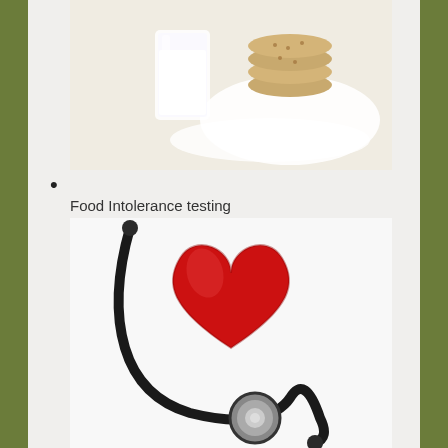[Figure (photo): Photo of milk in a glass and cookies/biscuits on a white plate, food intolerance related image]
Food Intolerance testing
[Figure (photo): Photo of a red heart-shaped stress ball with a stethoscope, medical health concept image]